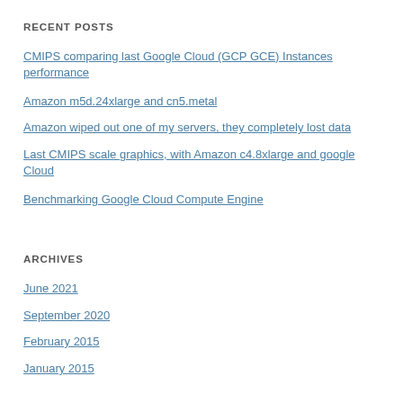RECENT POSTS
CMIPS comparing last Google Cloud (GCP GCE) Instances performance
Amazon m5d.24xlarge and cn5.metal
Amazon wiped out one of my servers, they completely lost data
Last CMIPS scale graphics, with Amazon c4.8xlarge and google Cloud
Benchmarking Google Cloud Compute Engine
ARCHIVES
June 2021
September 2020
February 2015
January 2015